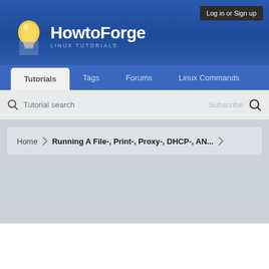HowtoForge - Linux Tutorials
Log in or Sign up
Tutorials | Tags | Forums | Linux Commands
Tutorial search  Subscribe
Home > Running A File-, Print-, Proxy-, DHCP-, AN...